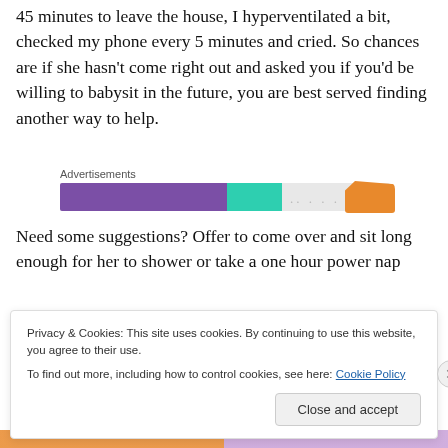45 minutes to leave the house, I hyperventilated a bit, checked my phone every 5 minutes and cried. So chances are if she hasn't come right out and asked you if you'd be willing to babysit in the future, you are best served finding another way to help.
[Figure (other): Advertisements banner with purple, teal, dotted, and orange segments]
Need some suggestions? Offer to come over and sit long enough for her to shower or take a one hour power nap (she might feel less anxious about leaving the baby if d...
Privacy & Cookies: This site uses cookies. By continuing to use this website, you agree to their use.
To find out more, including how to control cookies, see here: Cookie Policy